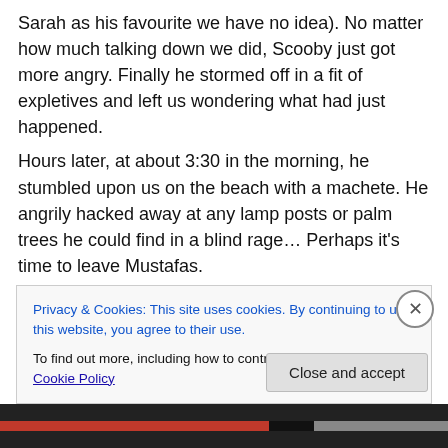Sarah as his favourite we have no idea). No matter how much talking down we did, Scooby just got more angry. Finally he stormed off in a fit of expletives and left us wondering what had just happened.
Hours later, at about 3:30 in the morning, he stumbled upon us on the beach with a machete. He angrily hacked away at any lamp posts or palm trees he could find in a blind rage… Perhaps it's time to leave Mustafas.
So we waited til he passed, went to bed, got up early and checked out. At 8:00 am Scooby was already awake and stoking the fireplace. We tiptoed around him, not quite
Privacy & Cookies: This site uses cookies. By continuing to use this website, you agree to their use.
To find out more, including how to control cookies, see here: Cookie Policy
Close and accept